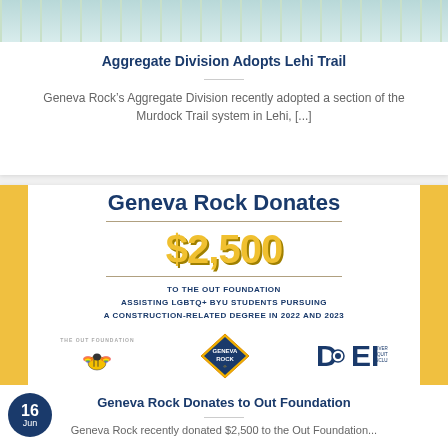[Figure (photo): Map/trail image at top of first card]
Aggregate Division Adopts Lehi Trail
Geneva Rock’s Aggregate Division recently adopted a section of the Murdock Trail system in Lehi, [...]
[Figure (infographic): Geneva Rock Donates $2,500 to the Out Foundation promotional banner with logos]
Geneva Rock Donates to Out Foundation
Geneva Rock recently donated $2,500 to the Out Foundation...